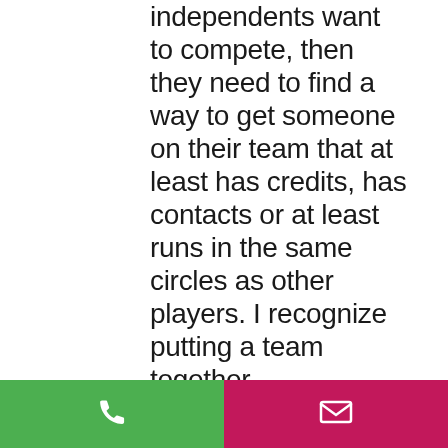independents want to compete, then they need to find a way to get someone on their team that at least has credits, has contacts or at least runs in the same circles as other players. I recognize putting a team together
[Figure (other): Bottom navigation bar with two buttons: green phone/call button on the left and pink/magenta email/envelope button on the right]